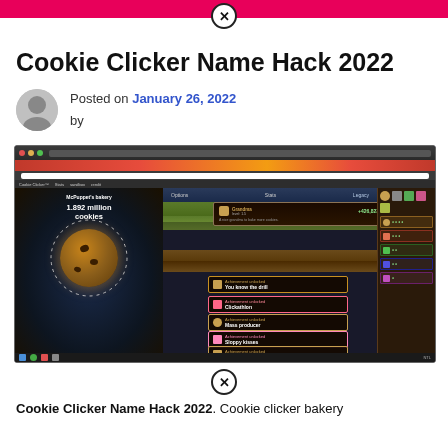Cookie Clicker Name Hack 2022
Posted on January 26, 2022
by
[Figure (screenshot): Screenshot of the Cookie Clicker browser game showing McPuppet's bakery with 1.892 million cookies, a large cookie on the left, and achievement notifications including 'You know the drill', 'Clickathlon', 'Mass producer', 'Sloppy kisses', and 'Just wrong' on the right side.]
Cookie Clicker Name Hack 2022. Cookie clicker bakery